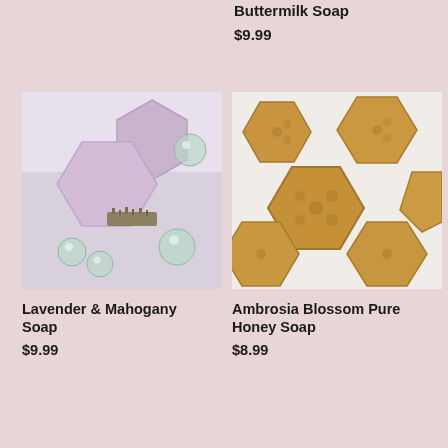Buttermilk Soap
$9.99
[Figure (photo): Lavender and mahogany hexagonal soap bars with dried lavender herbs and glass marble decorations on white background]
Lavender & Mahogany Soap
$9.99
[Figure (photo): Multiple hexagonal golden honey soap bars with honeycomb and bee patterns on white background]
Ambrosia Blossom Pure Honey Soap
$8.99